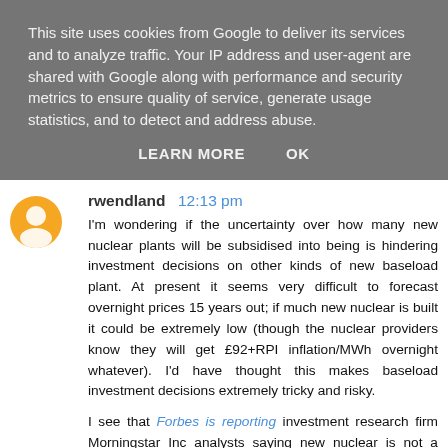This site uses cookies from Google to deliver its services and to analyze traffic. Your IP address and user-agent are shared with Google along with performance and security metrics to ensure quality of service, generate usage statistics, and to detect and address abuse.
LEARN MORE   OK
rwendland  12:13 pm
I'm wondering if the uncertainty over how many new nuclear plants will be subsidised into being is hindering investment decisions on other kinds of new baseload plant. At present it seems very difficult to forecast overnight prices 15 years out; if much new nuclear is built it could be extremely low (though the nuclear providers know they will get £92+RPI inflation/MWh overnight whatever). I'd have thought this makes baseload investment decisions extremely tricky and risky.

I see that Forbes is reporting investment research firm Morningstar Inc analysts saying new nuclear is not a viable